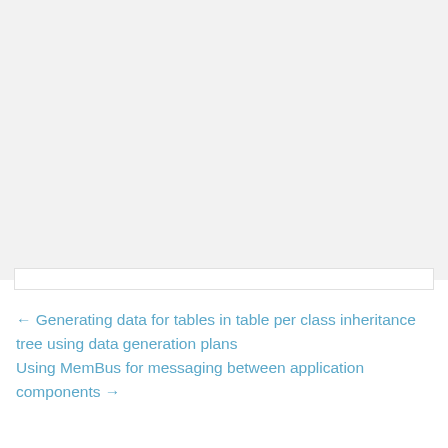[Figure (other): Large blank light grey rectangular area occupying the top portion of the page, likely a placeholder for an image or diagram.]
← Generating data for tables in table per class inheritance tree using data generation plans
Using MemBus for messaging between application components →